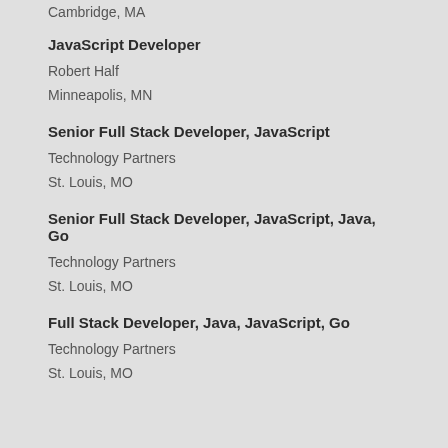Cambridge, MA
JavaScript Developer
Robert Half
Minneapolis, MN
Senior Full Stack Developer, JavaScript
Technology Partners
St. Louis, MO
Senior Full Stack Developer, JavaScript, Java, Go
Technology Partners
St. Louis, MO
Full Stack Developer, Java, JavaScript, Go
Technology Partners
St. Louis, MO